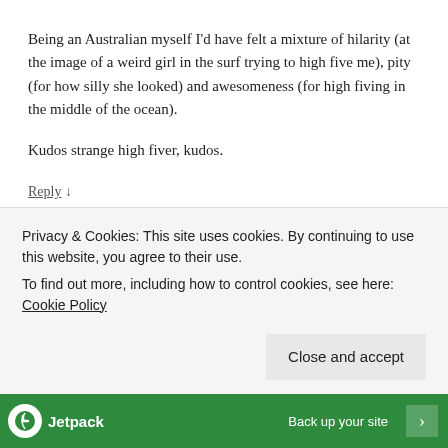Being an Australian myself I'd have felt a mixture of hilarity (at the image of a weird girl in the surf trying to high five me), pity (for how silly she looked) and awesomeness (for high fiving in the middle of the ocean).
Kudos strange high fiver, kudos.
Reply ↓
aconn464 Post author
Privacy & Cookies: This site uses cookies. By continuing to use this website, you agree to their use.
To find out more, including how to control cookies, see here: Cookie Policy
Close and accept
Jetpack — Back up your site